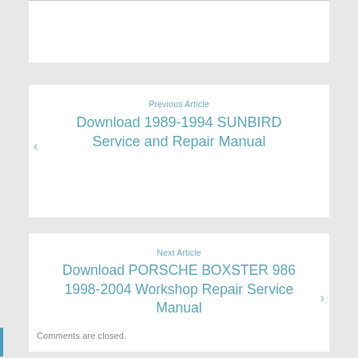Previous Article
Download 1989-1994 SUNBIRD Service and Repair Manual
Next Article
Download PORSCHE BOXSTER 986 1998-2004 Workshop Repair Service Manual
Comments are closed.